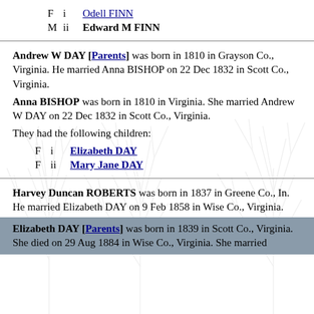F   i   Odell FINN
M  ii   Edward M FINN
Andrew W DAY [Parents] was born in 1810 in Grayson Co., Virginia. He married Anna BISHOP on 22 Dec 1832 in Scott Co., Virginia.
Anna BISHOP was born in 1810 in Virginia. She married Andrew W DAY on 22 Dec 1832 in Scott Co., Virginia.
They had the following children:
F   i   Elizabeth DAY
F  ii   Mary Jane DAY
Harvey Duncan ROBERTS was born in 1837 in Greene Co., In. He married Elizabeth DAY on 9 Feb 1858 in Wise Co., Virginia.
Elizabeth DAY [Parents] was born in 1839 in Scott Co., Virginia. She died on 29 Aug 1884 in Wise Co., Virginia. She married